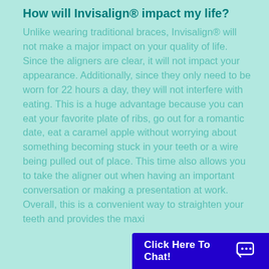How will Invisalign® impact my life?
Unlike wearing traditional braces, Invisalign® will not make a major impact on your quality of life. Since the aligners are clear, it will not impact your appearance. Additionally, since they only need to be worn for 22 hours a day, they will not interfere with eating. This is a huge advantage because you can eat your favorite plate of ribs, go out for a romantic date, eat a caramel apple without worrying about something becoming stuck in your teeth or a wire being pulled out of place. This time also allows you to take the aligner out when having an important conversation or making a presentation at work. Overall, this is a convenient way to straighten your teeth and provides the maxi
[Figure (other): Blue chat button overlay at bottom right: 'Click Here To Chat!' with chat bubble icon]